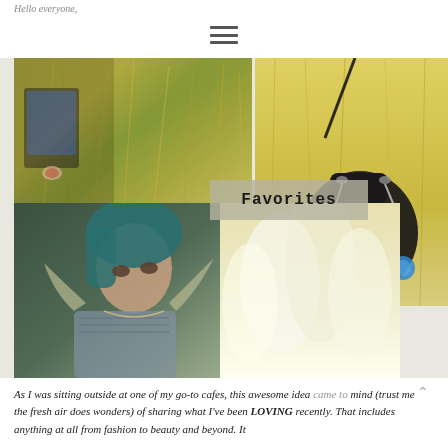Hello everyone,
[Figure (photo): A collage of four photos: top-left shows a hand holding a device among tall wheat/grass stalks; top-right shows a black drawstring bucket bag hanging against a sunny wheat field background; bottom-left shows a young woman with teal/green hair looking upward wearing a striped top with a necklace; bottom-center shows a blurry white wheat/grass field. An overlaid label reads 'Favorites' in a handwritten-style font on a semi-transparent grey rectangle.]
As I was sitting outside at one of my go-to cafes, this awesome idea came to mind (trust me the fresh air does wonders) of sharing what I've been LOVING recently. That includes anything at all from fashion to beauty and beyond. It